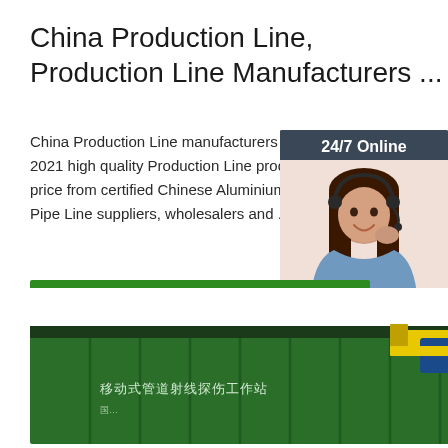China Production Line, Production Line Manufacturers ...
China Production Line manufacturers - S... 2021 high quality Production Line produ... price from certified Chinese Aluminium P... Pipe Line suppliers, wholesalers and ...
[Figure (screenshot): Live chat widget with 24/7 Online label, customer service representative photo, 'Click here for free chat!' text, and orange QUOTATION button]
Get Price
[Figure (photo): Green shipping container with Chinese text '移动式管道射线探伤工作站' and yellow/blue crane arm attachment visible at bottom of page]